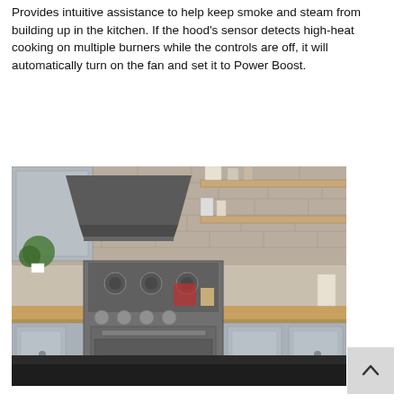Provides intuitive assistance to help keep smoke and steam from building up in the kitchen. If the hood's sensor detects high-heat cooking on multiple burners while the controls are off, it will automatically turn on the fan and set it to Power Boost.
[Figure (photo): Kitchen scene showing a stainless steel range with a hood above it, gray cabinets, butcher block countertops, open shelving with kitchenware, and a brick backsplash.]